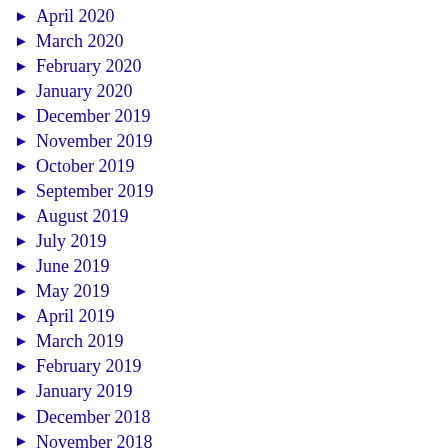April 2020
March 2020
February 2020
January 2020
December 2019
November 2019
October 2019
September 2019
August 2019
July 2019
June 2019
May 2019
April 2019
March 2019
February 2019
January 2019
December 2018
November 2018
October 2018
September 2018
August 2018
July 2018